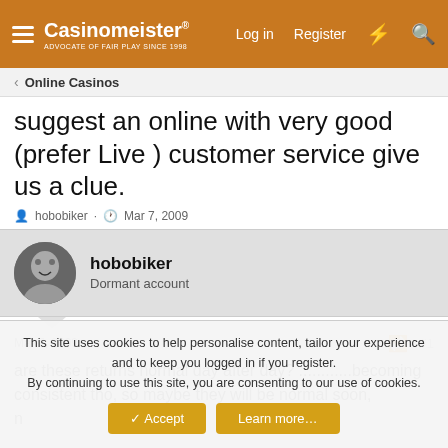Casinomeister® — Log in | Register
Online Casinos
suggest an online with very good (prefer Live ) customer service give us a clue.
hobobiker · Mar 7, 2009
hobobiker
Dormant account
Mar 7, 2009  #1
are these returns normal day after day? ............becoming consistent tho, so maybe they will be normal soon,
n
This site uses cookies to help personalise content, tailor your experience and to keep you logged in if you register.
By continuing to use this site, you are consenting to our use of cookies.
✓ Accept   Learn more…